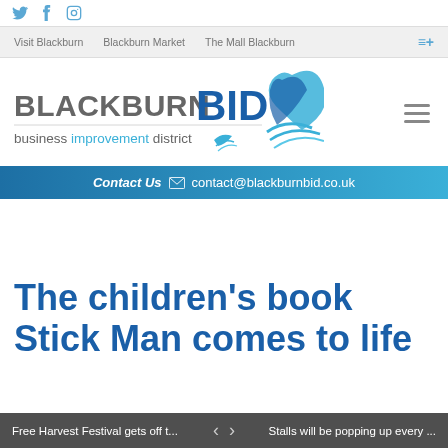Social media icons: Twitter, Facebook, Instagram
Visit Blackburn | Blackburn Market | The Mall Blackburn | menu
[Figure (logo): Blackburn BID - Business Improvement District logo with blue swoosh design]
Contact Us  contact@blackburnbid.co.uk
The children's book Stick Man comes to life on stage this November